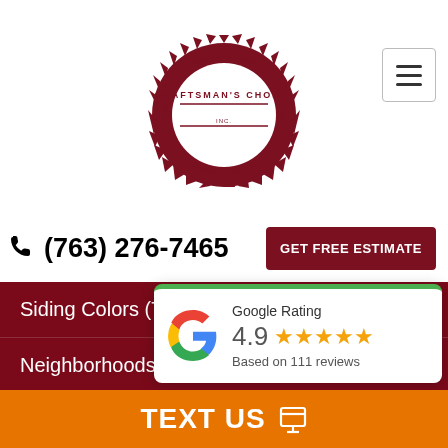[Figure (logo): Craftsman's Choice Inc. circular saw blade logo with dark red color and text 'CRAFTSMAN'S CHOICE INC.']
(763) 276-7465
GET FREE ESTIMATE
Siding Colors (Trim)
Neighborhoods & Cities
Siding Type
Special Features
[Figure (infographic): Google Rating card showing 4.9 stars based on 111 reviews with Google G logo]
TEXT US